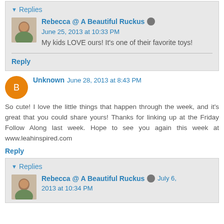Replies
Rebecca @ A Beautiful Ruckus   June 25, 2013 at 10:33 PM
My kids LOVE ours! It's one of their favorite toys!
Reply
Unknown   June 28, 2013 at 8:43 PM
So cute! I love the little things that happen through the week, and it's great that you could share yours! Thanks for linking up at the Friday Follow Along last week. Hope to see you again this week at www.leahinspired.com
Reply
Replies
Rebecca @ A Beautiful Ruckus   July 6, 2013 at 10:34 PM